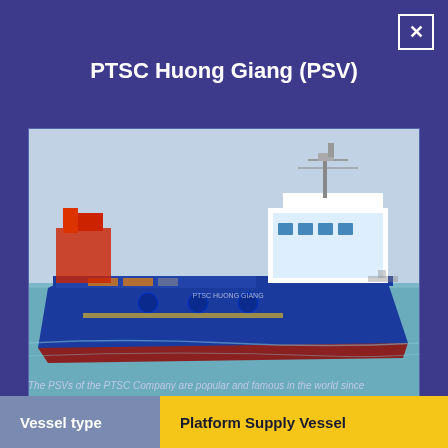PTSC Huong Giang (PSV)
[Figure (photo): Photograph of the PTSC Huong Giang platform supply vessel at sea. The ship has a blue hull, red bottom, white superstructure on the starboard side, and red cargo equipment at the stern. The vessel is shown broadside in calm blue-green water under an overcast sky.]
The PSVs of the PTSC Company are popular and famous in the world since
| Vessel type |  |
| --- | --- |
| Vessel type | Platform Supply Vessel |